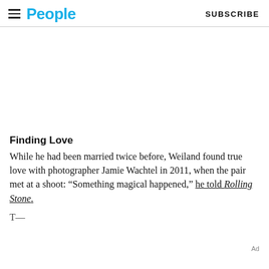People  SUBSCRIBE
[Figure (photo): White/blank image placeholder area above the article content]
Finding Love
While he had been married twice before, Weiland found true love with photographer Jamie Wachtel in 2011, when the pair met at a shoot: “Something magical happened,” he told Rolling Stone.
T— [truncated line of text]